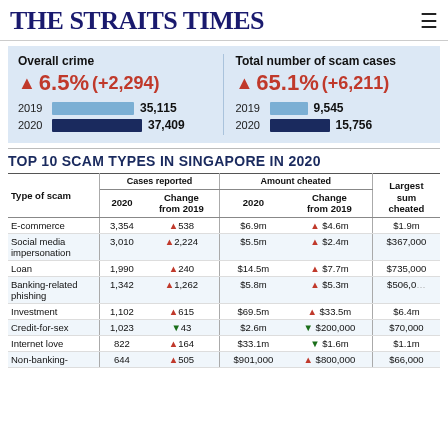THE STRAITS TIMES
[Figure (infographic): Overall crime up 6.5% (+2,294): 2019: 35,115; 2020: 37,409. Total number of scam cases up 65.1% (+6,211): 2019: 9,545; 2020: 15,756.]
TOP 10 SCAM TYPES IN SINGAPORE IN 2020
| Type of scam | 2020 | Change from 2019 | 2020 | Change from 2019 | Largest sum cheated |
| --- | --- | --- | --- | --- | --- |
| E-commerce | 3,354 | ▲538 | $6.9m | ▲ $4.6m | $1.9m |
| Social media impersonation | 3,010 | ▲2,224 | $5.5m | ▲ $2.4m | $367,000 |
| Loan | 1,990 | ▲240 | $14.5m | ▲ $7.7m | $735,000 |
| Banking-related phishing | 1,342 | ▲1,262 | $5.8m | ▲ $5.3m | $506,000 |
| Investment | 1,102 | ▲615 | $69.5m | ▲ $33.5m | $6.4m |
| Credit-for-sex | 1,023 | ▼43 | $2.6m | ▼ $200,000 | $70,000 |
| Internet love | 822 | ▲164 | $33.1m | ▼ $1.6m | $1.1m |
| Non-banking- | 644 | ▲505 | $901,000 | ▲ $800,000 | $66,000 |